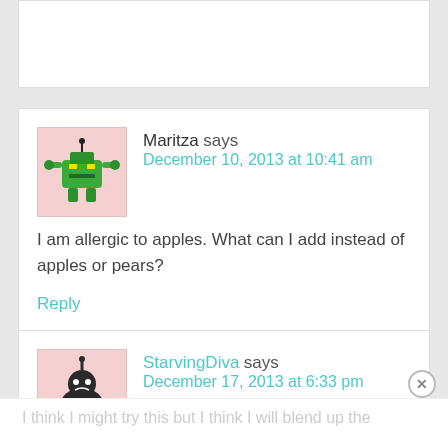[Figure (illustration): Top partial comment block, cut off at top of page, white background with border]
Maritza says
December 10, 2013 at 10:41 am
I am allergic to apples. What can I add instead of apples or pears?
Reply
StarvingDiva says
December 17, 2013 at 6:33 pm
I think I might try this but I think I will blend up the